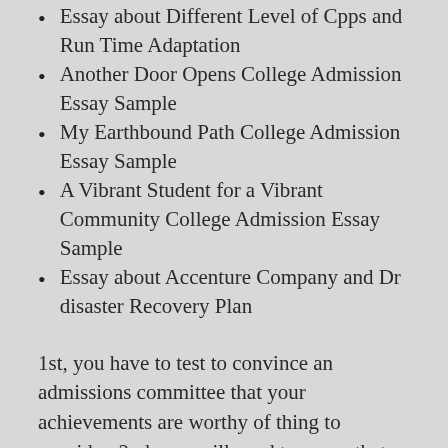Essay about Different Level of Cpps and Run Time Adaptation
Another Door Opens College Admission Essay Sample
My Earthbound Path College Admission Essay Sample
A Vibrant Student for a Vibrant Community College Admission Essay Sample
Essay about Accenture Company and Dr disaster Recovery Plan
1st, you have to test to convince an admissions committee that your achievements are worthy of thing to consider. 2nd, you will need to prove that you are not only attorney content, but you are also a excellent addition to the student entire body at that certain establishment. These are the two main inquiries that you will need to remedy. If probable, get a person else to proofread your assignment.